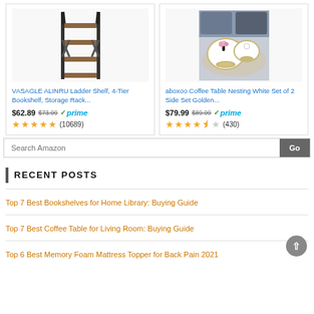[Figure (photo): VASAGLE ALINRU Ladder Shelf 4-Tier Bookshelf product photo on white background]
VASAGLE ALINRU Ladder Shelf, 4-Tier Bookshelf, Storage Rack...
$62.89 $73.99 ✓prime
★★★★★ (10689)
[Figure (photo): aboxoo Coffee Table Nesting White Set of 2 Side Set Golden product photo in room setting]
aboxoo Coffee Table Nesting White Set of 2 Side Set Golden...
$79.99 $89.99 ✓prime
★★★★½ (430)
Search Amazon
RECENT POSTS
Top 7 Best Bookshelves for Home Library: Buying Guide
Top 7 Best Coffee Table for Living Room: Buying Guide
Top 6 Best Memory Foam Mattress Topper for Back Pain 2021